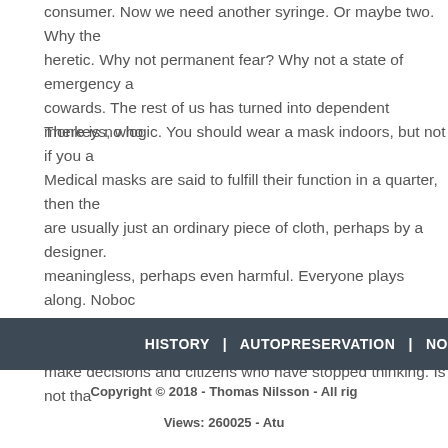consumer. Now we need another syringe. Or maybe two. Why the heretic. Why not permanent fear? Why not a state of emergency a cowards. The rest of us has turned into dependent monkeys, who
There is no logic. You should wear a mask indoors, but not if you a Medical masks are said to fulfill their function in a quarter, then the are usually just an ordinary piece of cloth, perhaps by a designer. meaningless, perhaps even harmful. Everyone plays along. Noboc written about conspiracy theorists and vaccine haters daily. But in make decisions and citizens who have stopped thinking. Is not tha
HISTORY  |  AUTOPRESERVATION  |  NO
Copyright © 2018 - Thomas Nilsson - All rig
Views: 260025 - Atu